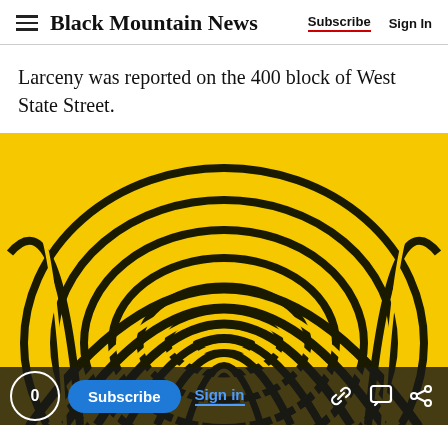Black Mountain News | Subscribe | Sign In
Larceny was reported on the 400 block of West State Street.
[Figure (photo): Close-up fingerprint image on a bright yellow background, showing detailed ridge patterns of a thumbprint in black ink.]